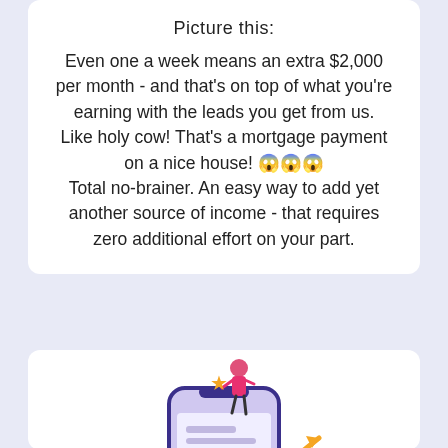Picture this:
Even one a week means an extra $2,000 per month - and that's on top of what you're earning with the leads you get from us.
Like holy cow! That's a mortgage payment on a nice house! 😱😱😱
Total no-brainer. An easy way to add yet another source of income - that requires zero additional effort on your part.
[Figure (illustration): Illustration of a person on top of a large smartphone holding a star, with star ratings shown on the phone screen, and another person pointing at rising arrow/chart graphic in yellow/orange]